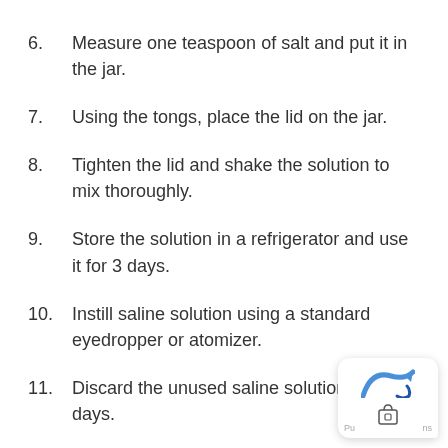6.    Measure one teaspoon of salt and put it in the jar.
7.    Using the tongs, place the lid on the jar.
8.    Tighten the lid and shake the solution to mix thoroughly.
9.    Store the solution in a refrigerator and use it for 3 days.
10.    Instill saline solution using a standard eyedropper or atomizer.
11.    Discard the unused saline solution after [3] days.
[Figure (other): A browser/app popup widget in the bottom-right corner showing a blue arrow icon and a bag/shopping icon, with footer text 'Pu' and 'ns'.]